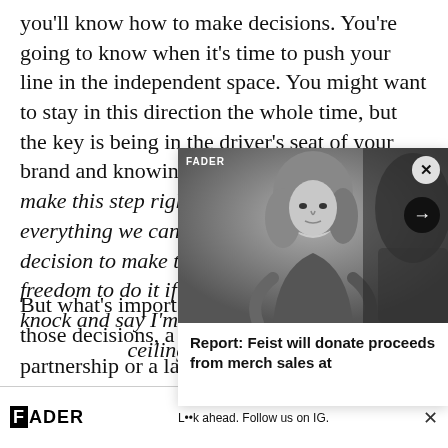you'll know how to make decisions. You're going to know when it's time to push your line in the independent space. You might want to stay in this direction the whole time, but the key is being in the driver's seat of your brand and knowing that Okay, it's time to go make this step right here because we done everything we can do in this space and it's my decision to make this step and I got the freedom to do it if I choose to. Or you could knock and say I'm going to keep going in here because the ceiling is still high…
But what's important is that you're making those decisions, and whether you sign a partnership or a label deal and whatever it's worth, you get wh…
[Figure (photo): Popup overlay showing a black and white photo of a person (Feist) with long hair, looking toward the camera, with FADER logo tag and navigation arrow button.]
Report: Feist will donate proceeds from merch sales at
[Figure (screenshot): FADER advertisement banner at bottom of page showing logo, model photos, and text 'L••k ahead. Follow us on IG.' with close button.]